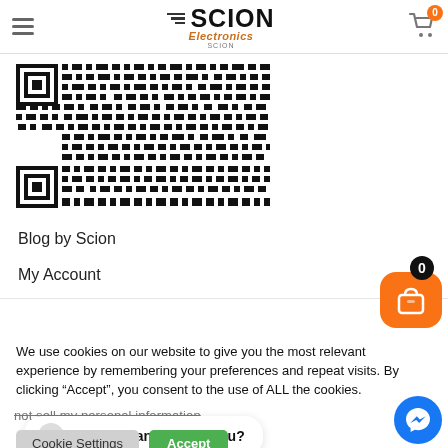Scion Electronics — navigation header with hamburger menu, logo, and cart icon (badge: 0)
[Figure (other): QR code barcode image, black and white, partially cropped at top]
Blog by Scion
My Account
We use cookies on our website to give you the most relevant experience by remembering your preferences and repeat visits. By clicking “Accept”, you consent to the use of ALL the cookies.
not sell my personal information
Hi! How can we help you?
Cookie Settings   Accept